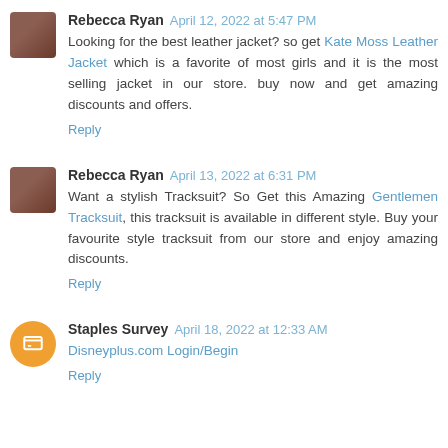Rebecca Ryan  April 12, 2022 at 5:47 PM
Looking for the best leather jacket? so get Kate Moss Leather Jacket which is a favorite of most girls and it is the most selling jacket in our store. buy now and get amazing discounts and offers.
Reply
Rebecca Ryan  April 13, 2022 at 6:31 PM
Want a stylish Tracksuit? So Get this Amazing Gentlemen Tracksuit, this tracksuit is available in different style. Buy your favourite style tracksuit from our store and enjoy amazing discounts.
Reply
Staples Survey  April 18, 2022 at 12:33 AM
Disneyplus.com Login/Begin
Reply